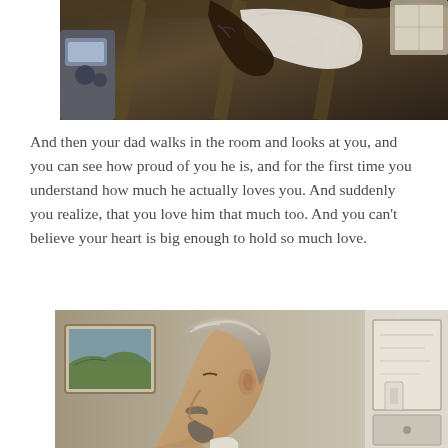[Figure (photo): A person seen from above holding a white cloth or tissue, dark background with ceiling beams and gym/exercise equipment visible in upper left]
And then your dad walks in the room and looks at you, and you can see how proud of you he is, and for the first time you understand how much he actually loves you. And suddenly you realize, that you love him that much too. And you can't believe your heart is big enough to hold so much love.
[Figure (photo): Side profile of an older man with gray hair and a goatee, looking downward; indoor setting with framed artwork on wall in background and a cabinet or whiteboard visible]